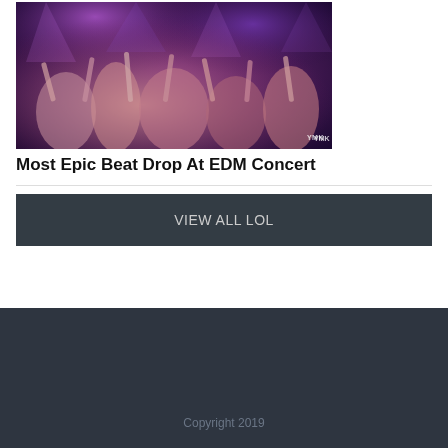[Figure (photo): Concert crowd at an EDM event with hands raised, purple and pink stage lighting, watermark 'YMK' in lower right corner]
Most Epic Beat Drop At EDM Concert
VIEW ALL LOL
Copyright 2019